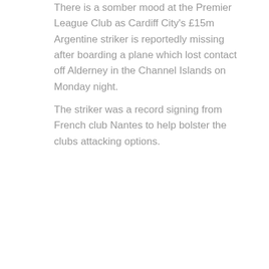There is a somber mood at the Premier League Club as Cardiff City's £15m Argentine striker is reportedly missing after boarding a plane which lost contact off Alderney in the Channel Islands on Monday night.
The striker was a record signing from French club Nantes to help bolster the clubs attacking options.